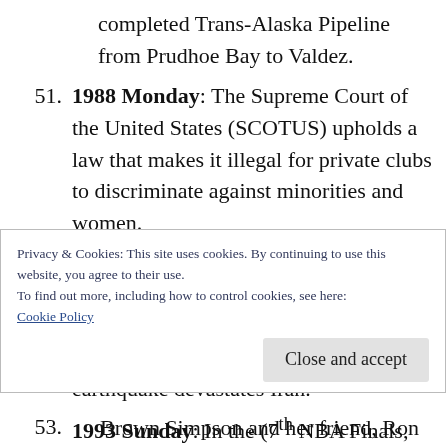completed Trans-Alaska Pipeline from Prudhoe Bay to Valdez.
51. 1988 Monday: The Supreme Court of the United States (SCOTUS) upholds a law that makes it illegal for private clubs to discriminate against minorities and women.
52. 1990 Wednesday: Nelson Mandela lands in New York City to begin a tour of the United States.  Elsewhere, as many as 50,000 people die as an earthquake devastates Iran.
53. 1993 Sunday: In the 7th NBA Finals, the
Privacy & Cookies: This site uses cookies. By continuing to use this website, you agree to their use.
To find out more, including how to control cookies, see here:
Cookie Policy
Close and accept
Brown Simpson and her friend, Ron